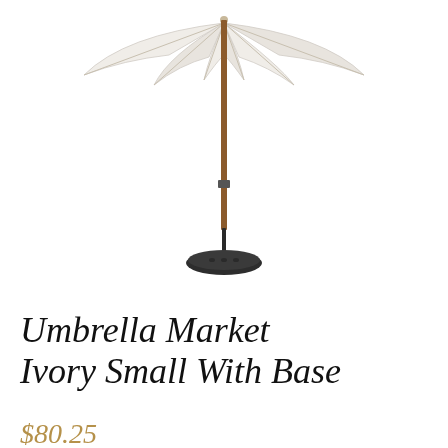[Figure (photo): A patio market umbrella with ivory/cream canopy panels and a wooden pole, mounted on a round dark metal base. The umbrella is open and photographed against a white background.]
Umbrella Market Ivory Small With Base
$80.25